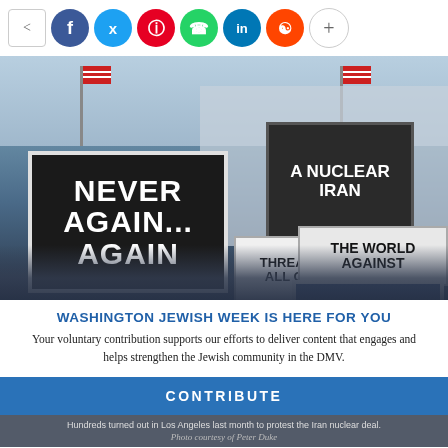[Figure (other): Social media share bar with share button, Facebook, Twitter, Pinterest, WhatsApp, LinkedIn, Reddit, and plus button icons]
[Figure (photo): Protest photo showing people holding signs: 'NEVER AGAIN...AGAIN', 'A NUCLEAR IRAN THREATENS ALL OF US', 'THE WORLD...', 'IRAN WANTS TO KILL', with American flags in the background]
WASHINGTON JEWISH WEEK IS HERE FOR YOU
Your voluntary contribution supports our efforts to deliver content that engages and helps strengthen the Jewish community in the DMV.
CONTRIBUTE
Hundreds turned out in Los Angeles last month to protest the Iran nuclear deal. Photo courtesy of Peter Duke
Millions gathered across the country